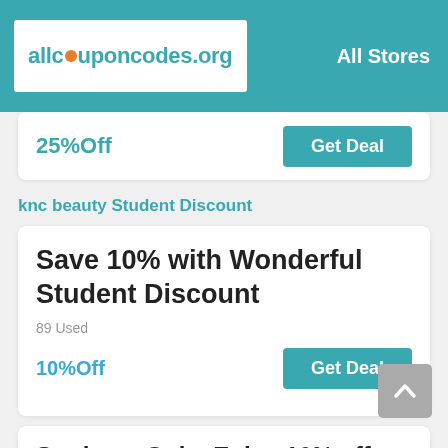allcouponcodes.org  All Stores
25%Off  Get Deal
knc beauty Student Discount
Save 10% with Wonderful Student Discount
89 Used
10%Off  Get Deal
Students Only: Enjoy 10% off